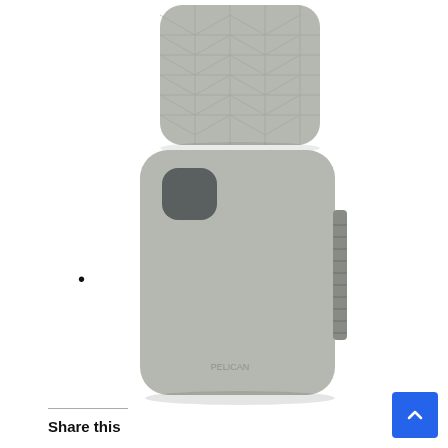[Figure (photo): Back view of a gray/beige quilted-pattern phone case (Pelican brand) shown from behind, isolated on white background]
•
[Figure (photo): Side and back view of a gray/beige Pelican phone case on an iPhone, showing camera cutout, side buttons, and textured grip on the right edge]
Share this
[Figure (other): Blue scroll-to-top button with upward chevron arrow in the bottom right corner]